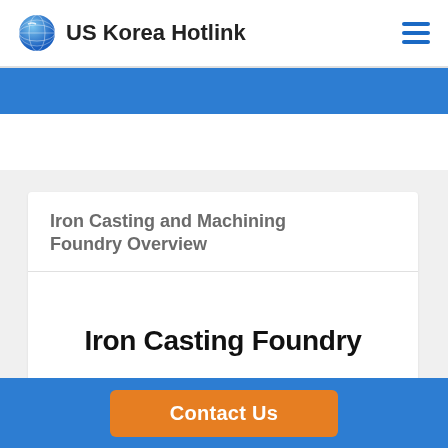US Korea Hotlink
[Figure (other): Blue banner strip below navigation]
Iron Casting and Machining Foundry Overview
Iron Casting Foundry
Contact Us